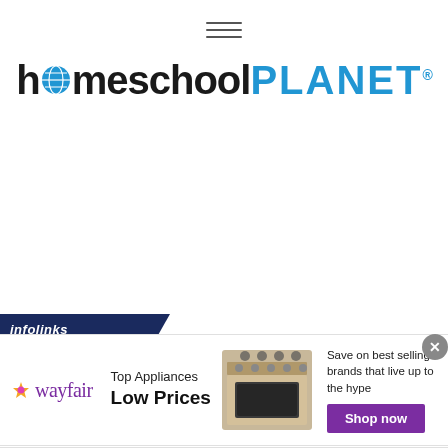[Figure (other): Hamburger menu icon — three horizontal lines centered at top]
homeschoolPLANET
[Figure (logo): Infolinks label badge in navy blue with italic white text 'infolinks']
[Figure (infographic): Wayfair advertisement banner: Wayfair logo, 'Top Appliances Low Prices', image of stove/range appliance, 'Save on best selling brands that live up to the hype', purple 'Shop now' button, close (x) button]